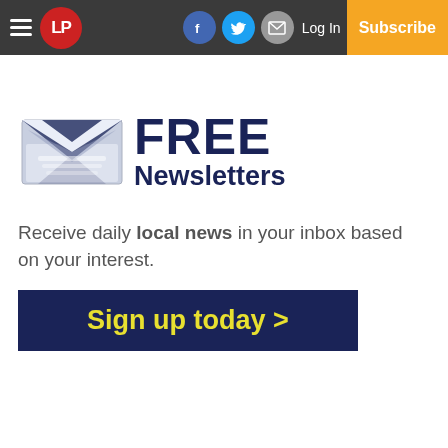LP | Log In | Subscribe
[Figure (illustration): Newsletter signup advertisement with envelope icon, FREE Newsletters heading, tagline, and Sign up today button]
Receive daily local news in your inbox based on your interest.
Sign up today >